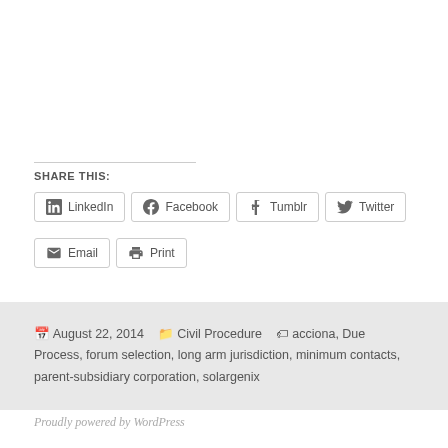SHARE THIS:
LinkedIn  Facebook  Tumblr  Twitter  Email  Print
August 22, 2014  Civil Procedure  acciona, Due Process, forum selection, long arm jurisdiction, minimum contacts, parent-subsidiary corporation, solargenix
Proudly powered by WordPress